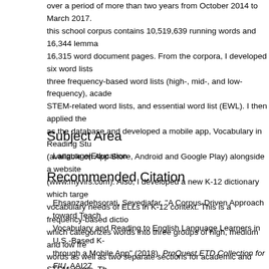over a period of more than two years from October 2014 to March 2017. this school corpus contains 10,519,639 running words and 16,344 lemmas and 16,315 word document pages. From the corpora, I developed six word lists: three frequency-based word lists (high-, mid-, and low-frequency), academic, STEM-related word lists, and essential word list (EWL). I then applied the as the database and developed a mobile app, Vocabulary in Reading Stu (available on App Store, Android and Google Play) alongside a website (www.myvirs.com). Also, I developed a new K-12 dictionary which targets vocabulary needs of ELLs in K-12 context. This is a frequency-based dictionary which categorizes words into three groups of high, medium and low frequency words as well as two separate sections for academic and STEM words. The dictionary has 16,500 lemmas with derivational and inflectional forms.
Subject Area
Language|Education
Recommended Citation
Ehsanzadehsorati, Seyedjafar, "A Corpus-Driven Approach toward Teaching Vocabulary and Reading to English Language Learners in U.S.-Based K-12 through a Mobile App" (2018). ProQuest ETD Collection for FIU. AAI27736480. https://digitalcommons.fiu.edu/dissertations/AAI27736480